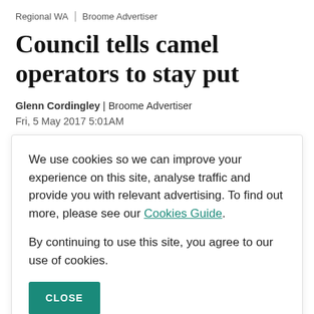Regional WA | Broome Advertiser
Council tells camel operators to stay put
Glenn Cordingley | Broome Advertiser
Fri, 5 May 2017 5:01AM
We use cookies so we can improve your experience on this site, analyse traffic and provide you with relevant advertising. To find out more, please see our Cookies Guide.

By continuing to use this site, you agree to our use of cookies.

CLOSE
from Sundowner Camel Tours, wanted to move their